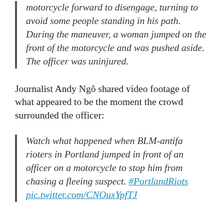motorcycle forward to disengage, turning to avoid some people standing in his path. During the maneuver, a woman jumped on the front of the motorcycle and was pushed aside. The officer was uninjured.
Journalist Andy Ngô shared video footage of what appeared to be the moment the crowd surrounded the officer:
Watch what happened when BLM-antifa rioters in Portland jumped in front of an officer on a motorcycle to stop him from chasing a fleeing suspect. #PortlandRiots pic.twitter.com/CNOuxYpfTJ